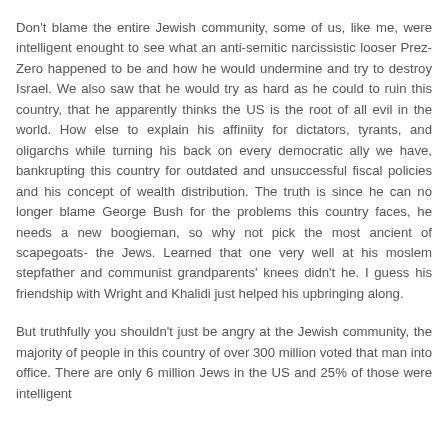Don't blame the entire Jewish community, some of us, like me, were intelligent enought to see what an anti-semitic narcissistic looser Prez-Zero happened to be and how he would undermine and try to destroy Israel. We also saw that he would try as hard as he could to ruin this country, that he apparently thinks the US is the root of all evil in the world. How else to explain his affiniity for dictators, tyrants, and oligarchs while turning his back on every democratic ally we have, bankrupting this country for outdated and unsuccessful fiscal policies and his concept of wealth distribution. The truth is since he can no longer blame George Bush for the problems this country faces, he needs a new boogieman, so why not pick the most ancient of scapegoats- the Jews. Learned that one very well at his moslem stepfather and communist grandparents' knees didn't he. I guess his friendship with Wright and Khalidi just helped his upbringing along.
But truthfully you shouldn't just be angry at the Jewish community, the majority of people in this country of over 300 million voted that man into office. There are only 6 million Jews in the US and 25% of those were intelligent